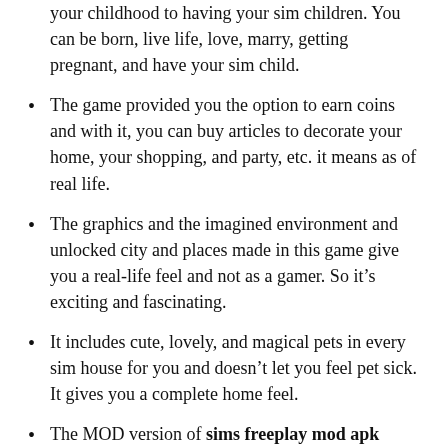your childhood to having your sim children. You can be born, live life, love, marry, getting pregnant, and have your sim child.
The game provided you the option to earn coins and with it, you can buy articles to decorate your home, your shopping, and party, etc. it means as of real life.
The graphics and the imagined environment and unlocked city and places made in this game give you a real-life feel and not as a gamer. So it’s exciting and fascinating.
It includes cute, lovely, and magical pets in every sim house for you and doesn’t let you feel pet sick. It gives you a complete home feel.
The MOD version of sims freeplay mod apk makes your game more exciting and adventurous to play. It gives you more freemium features to